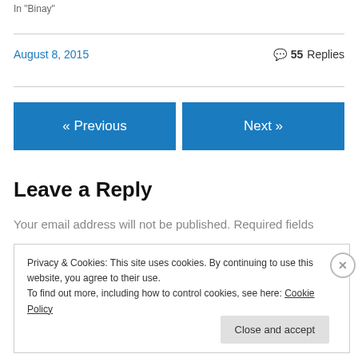In "Binay"
August 8, 2015    55 Replies
« Previous
Next »
Leave a Reply
Your email address will not be published. Required fields
Privacy & Cookies: This site uses cookies. By continuing to use this website, you agree to their use.
To find out more, including how to control cookies, see here: Cookie Policy
Close and accept